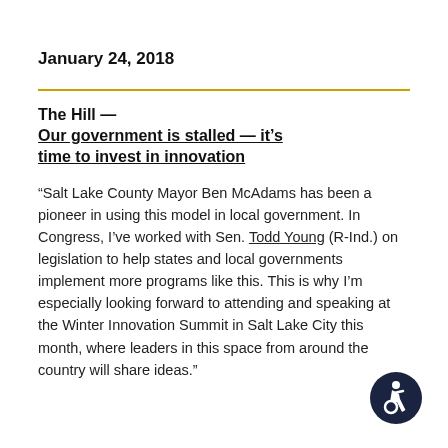January 24, 2018
The Hill — Our government is stalled — it's time to invest in innovation
"Salt Lake County Mayor Ben McAdams has been a pioneer in using this model in local government. In Congress, I've worked with Sen. Todd Young (R-Ind.) on legislation to help states and local governments implement more programs like this. This is why I'm especially looking forward to attending and speaking at the Winter Innovation Summit in Salt Lake City this month, where leaders in this space from around the country will share ideas."
[Figure (logo): Accessibility icon — white wheelchair user symbol in a dark navy circle]